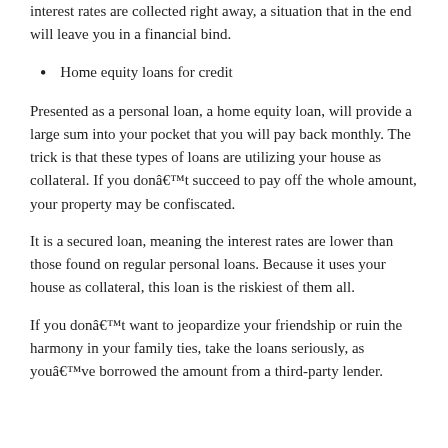interest rates are collected right away, a situation that in the end will leave you in a financial bind.
Home equity loans for credit
Presented as a personal loan, a home equity loan, will provide a large sum into your pocket that you will pay back monthly. The trick is that these types of loans are utilizing your house as collateral. If you donâ€™t succeed to pay off the whole amount, your property may be confiscated.
It is a secured loan, meaning the interest rates are lower than those found on regular personal loans. Because it uses your house as collateral, this loan is the riskiest of them all.
If you donâ€™t want to jeopardize your friendship or ruin the harmony in your family ties, take the loans seriously, as youâ€™ve borrowed the amount from a third-party lender.